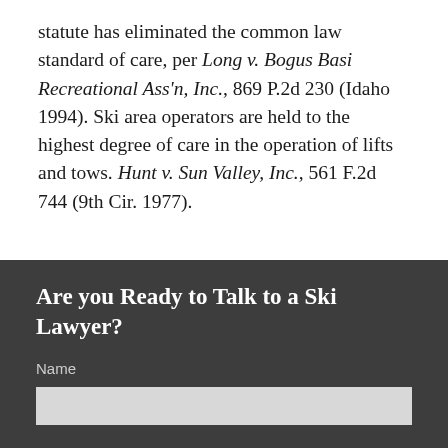statute has eliminated the common law standard of care, per Long v. Bogus Basi Recreational Ass'n, Inc., 869 P.2d 230 (Idaho 1994). Ski area operators are held to the highest degree of care in the operation of lifts and tows. Hunt v. Sun Valley, Inc., 561 F.2d 744 (9th Cir. 1977).
Are you Ready to Talk to a Ski Lawyer?
Name